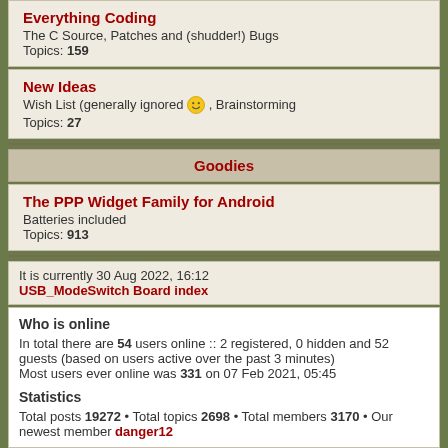Everything Coding
The C Source, Patches and (shudder!) Bugs
Topics: 159
New Ideas
Wish List (generally ignored), Brainstorming
Topics: 27
Goodies
The PPP Widget Family for Android
Batteries included
Topics: 913
It is currently 30 Aug 2022, 16:12
USB_ModeSwitch Board index
Who is online
In total there are 54 users online :: 2 registered, 0 hidden and 52 guests (based on users active over the past 3 minutes)
Most users ever online was 331 on 07 Feb 2021, 05:45
Statistics
Total posts 19272 • Total topics 2698 • Total members 3170 • Our newest member danger12
Login • Register
Username: